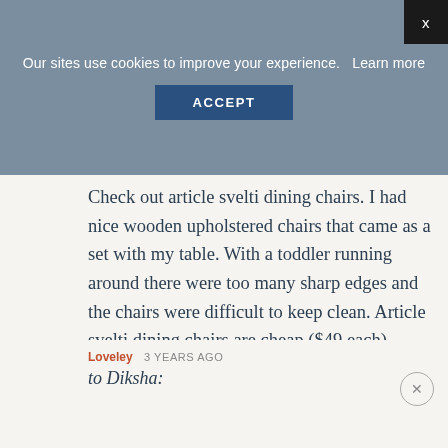Our sites use cookies to improve your experience.   Learn more
ACCEPT
Check out article svelti dining chairs. I had nice wooden upholstered chairs that came as a set with my table. With a toddler running around there were too many sharp edges and the chairs were difficult to keep clean. Article svelti dining chairs are cheap ($49 each), sturdy, and easy to maintain with a toddler.
+ 0 —
Loveley  3 YEARS AGO
to Diksha: